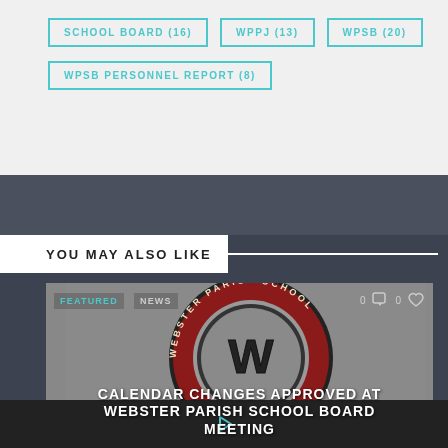SCHOOL BOARD (16)
WPPJ (13)
WPSB (20)
WPSB PERSONNEL REPORT (8)
YOU MAY ALSO LIKE
[Figure (photo): Webster Parish School seal logo - circular dark red emblem with large W in center, text reading WEBSTER PARISH SCHOOL around the border]
CALENDAR CHANGES APPROVED AT WEBSTER PARISH SCHOOL BOARD MEETING